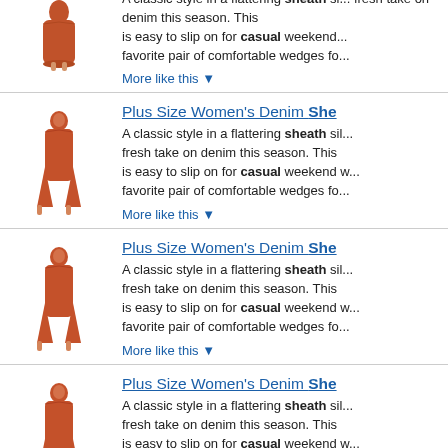[Figure (photo): Woman in rust/terra cotta colored sheath dress - partial item 1 (top cropped)]
A classic style in a flattering sheath si... fresh take on denim this season. This is easy to slip on for casual weekend... favorite pair of comfortable wedges fo...
More like this ▼
Plus Size Women's Denim She...
[Figure (photo): Woman in rust/terra cotta colored sheath dress - item 2]
A classic style in a flattering sheath si... fresh take on denim this season. This is easy to slip on for casual weekend w... favorite pair of comfortable wedges fo...
More like this ▼
Plus Size Women's Denim She...
[Figure (photo): Woman in rust/terra cotta colored sheath dress - item 3]
A classic style in a flattering sheath si... fresh take on denim this season. This is easy to slip on for casual weekend w... favorite pair of comfortable wedges fo...
More like this ▼
Plus Size Women's Denim She...
[Figure (photo): Woman in rust/terra cotta colored sheath dress - item 4]
A classic style in a flattering sheath si... fresh take on denim this season. This is easy to slip on for casual weekend w... favorite pair of comfortable wedges fo...
More like this ▼
Plus Size Women's Denim She...
[Figure (photo): Woman in rust/terra cotta colored sheath dress - item 5 (partial bottom)]
A classic style in a flattering sheath...